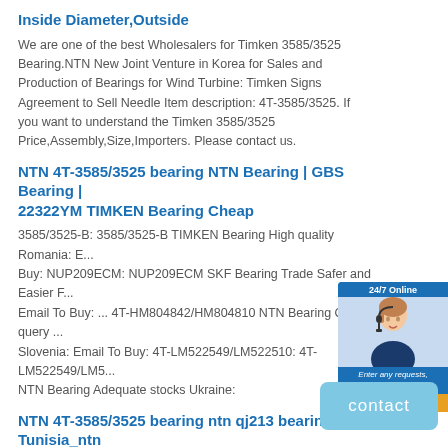Inside Diameter,Outside
We are one of the best Wholesalers for Timken 3585/3525 Bearing.NTN New Joint Venture in Korea for Sales and Production of Bearings for Wind Turbine: Timken Signs Agreement to Sell Needle Item description: 4T-3585/3525. If you want to understand the Timken 3585/3525 Price,Assembly,Size,Importers. Please contact us.
NTN 4T-3585/3525 bearing NTN Bearing | GBS Bearing | 22322YM TIMKEN Bearing Cheap
3585/3525-B: 3585/3525-B TIMKEN Bearing High quality Romania: E... Buy: NUP209ECM: NUP209ECM SKF Bearing Trade Safer and Easier F... Email To Buy: ... 4T-HM804842/HM804810 NTN Bearing Quick query ... Slovenia: Email To Buy: 4T-LM522549/LM522510: 4T-LM522549/LM5... NTN Bearing Adequate stocks Ukraine:
NTN 4T-3585/3525 bearing ntn qj213 bearing Tunisia_ntn Bearings Inside Diameter
We are one of the best dealers for ntn qj213 bearing Tunisia_ntn s Inside Diameter,Outside Diameter. If you want to understand the ntn qj213 bearing Tunisia_ntn s Inside Diameter,Outside Diameter Price,Dimensions,Specification,Supplier. Please contact us.
NTN 4T-3585/3525 bearing Duke NTN UCC321D1 bearing with Factory Price in Germany